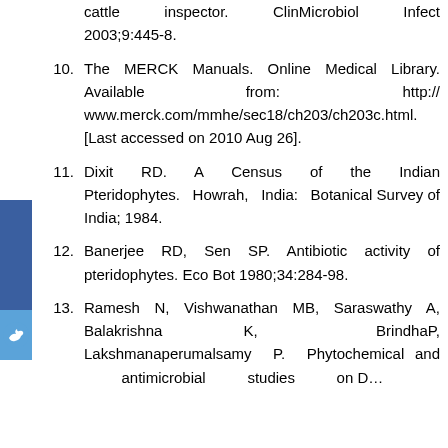cattle inspector. ClinMicrobiol Infect 2003;9:445-8.
10. The MERCK Manuals. Online Medical Library. Available from: http://www.merck.com/mmhe/sec18/ch203/ch203c.html. [Last accessed on 2010 Aug 26].
11. Dixit RD. A Census of the Indian Pteridophytes. Howrah, India: Botanical Survey of India; 1984.
12. Banerjee RD, Sen SP. Antibiotic activity of pteridophytes. Eco Bot 1980;34:284-98.
13. Ramesh N, Vishwanathan MB, Saraswathy A, Balakrishna K, BrindhaP, Lakshmanaperumalsamy P. Phytochemical and antimicrobial studies on Dryopteris setifera. Fitoterapia 2001;72:894-
[Figure (other): Blue sidebar with bird/social media icon]